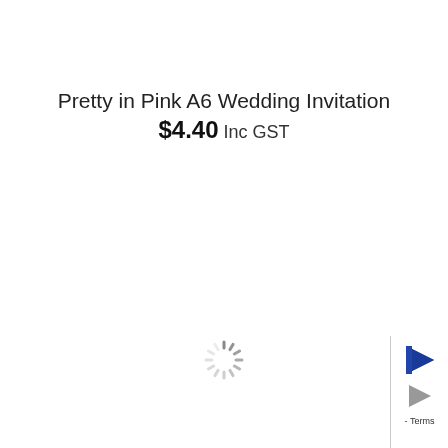Pretty in Pink A6 Wedding Invitation
$4.40 Inc GST
[Figure (other): Loading spinner animation (circular dashed spinner icon)]
[Figure (other): Corner widget with blue arrow icon, gray arrow icon, and Terms text]